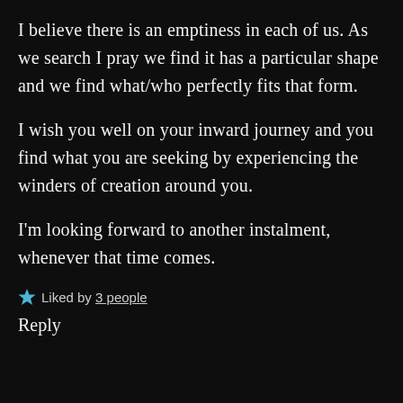I believe there is an emptiness in each of us. As we search I pray we find it has a particular shape and we find what/who perfectly fits that form.
I wish you well on your inward journey and you find what you are seeking by experiencing the winders of creation around you.
I'm looking forward to another instalment, whenever that time comes.
★ Liked by 3 people
Reply